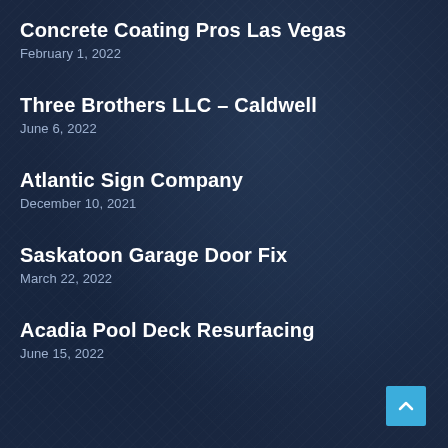Concrete Coating Pros Las Vegas
February 1, 2022
Three Brothers LLC – Caldwell
June 6, 2022
Atlantic Sign Company
December 10, 2021
Saskatoon Garage Door Fix
March 22, 2022
Acadia Pool Deck Resurfacing
June 15, 2022